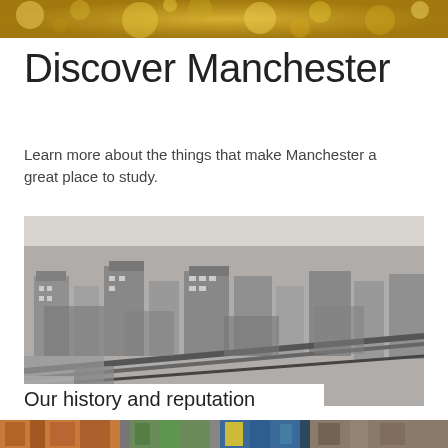[Figure (photo): Top strip image with golden/yellow texture or bokeh lights background]
Discover Manchester
Learn more about the things that make Manchester a great place to study.
[Figure (photo): Black and white aerial photograph of Manchester city centre showing historic buildings and railway lines]
Our history and reputation
[Figure (photo): Bottom strip showing partial colourful images, partially cropped]